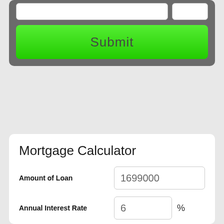[Figure (screenshot): Top section of a web form showing a partial input row and a green Submit button on a dark gray card background]
Mortgage Calculator
Amount of Loan: 1699000
Annual Interest Rate: 6 %
Term of Loan: 30 Years
[Figure (screenshot): Partially visible Calculate button at the bottom of the Mortgage Calculator card]